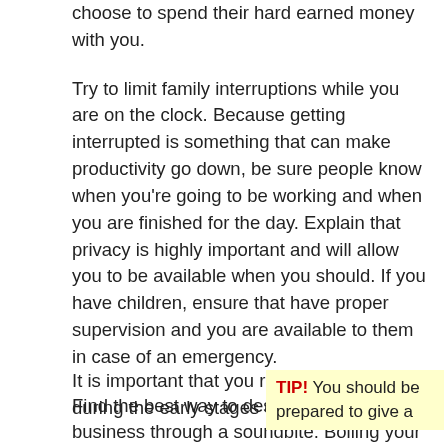choose to spend their hard earned money with you.
Try to limit family interruptions while you are on the clock. Because getting interrupted is something that can make productivity go down, be sure people know when you're going to be working and when you are finished for the day. Explain that privacy is highly important and will allow you to be available when you should. If you have children, ensure that have proper supervision and you are available to them in case of an emergency.
Find the best way to describe your business through a soundbite. Boiling your business' offering down to a sentence or two will help you impress possible clients when you are out. You can even shorten it into a slogan!
It is important that you remain employed during the early stages of
TIP! You should be prepared to give a